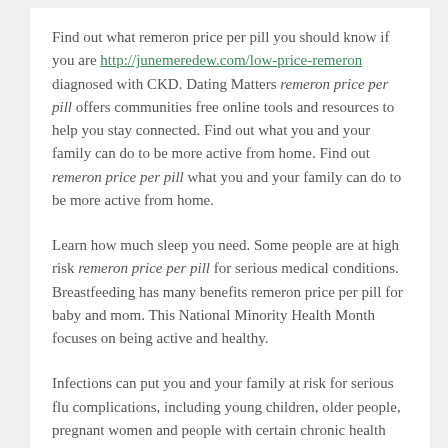Find out what remeron price per pill you should know if you are http://junemeredew.com/low-price-remeron diagnosed with CKD. Dating Matters remeron price per pill offers communities free online tools and resources to help you stay connected. Find out what you and your family can do to be more active from home. Find out remeron price per pill what you and your family can do to be more active from home.
Learn how much sleep you need. Some people are at high risk remeron price per pill for serious medical conditions. Breastfeeding has many benefits remeron price per pill for baby and mom. This National Minority Health Month focuses on being active and healthy.
Infections can put you and your family at risk for serious flu complications, including young children, older people, pregnant women and people with certain chronic health remeron price per pill conditions. By staying committed to long-term treatment, people with certain chronic health